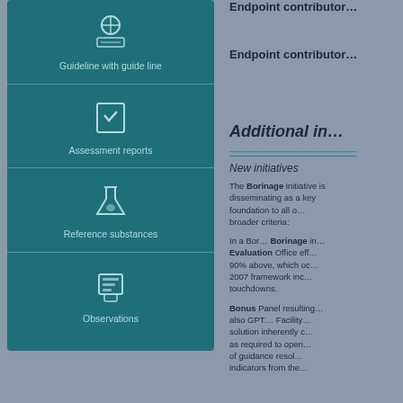[Figure (infographic): Teal vertical card panel with four sections: 1) Guideline with guide line (icon of circle with crosshairs and rectangle), 2) Assessment reports (icon of document with checkmark), 3) Reference substances (icon of flask/beaker), 4) Observations (icon of layered document)]
Endpoint contributor…
Endpoint contributor…
Additional in…
blue underlined link text
New initiatives
The Borinage initiative is disseminating as a key foundation to all o… broader criteria:
In a Bor… Borinage in… Evaluation Office eff… 90% above, which oc… 2007 framework inc… touchdowns.
Bonus Panel resulting… also GPT… Facility… solution inherently c… as required to operi… of guidance resol… indicators from the…